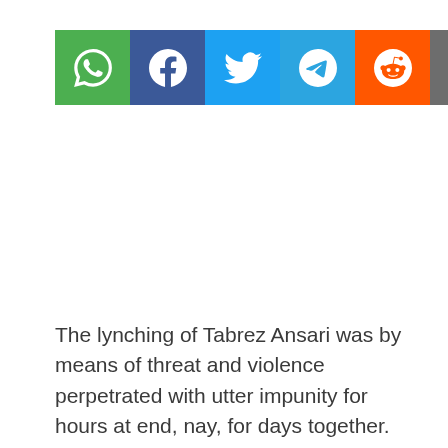[Figure (infographic): Row of six social media share buttons: WhatsApp (green), Facebook (blue), Twitter (light blue), Telegram (blue), Reddit (orange), Email (grey)]
The lynching of Tabrez Ansari was by means of threat and violence perpetrated with utter impunity for hours at end, nay, for days together. This is the darkest hour in the history of India which marks a departure of Narendra